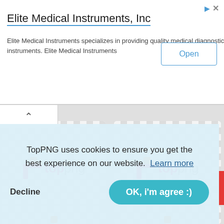[Figure (screenshot): Advertisement banner for Elite Medical Instruments, Inc with Open button and ad icons]
Elite Medical Instruments, Inc
Elite Medical Instruments specializes in providing quality medical diagnostic instruments. Elite Medical Instruments
[Figure (logo): TopPNG logo on checkered transparency background - left card]
[Figure (logo): TopPNG logo on checkered transparency background - right card]
Dow
TopPNG uses cookies to ensure you get the best experience on our website.  Learn more
Decline
OK, i'm agree :)